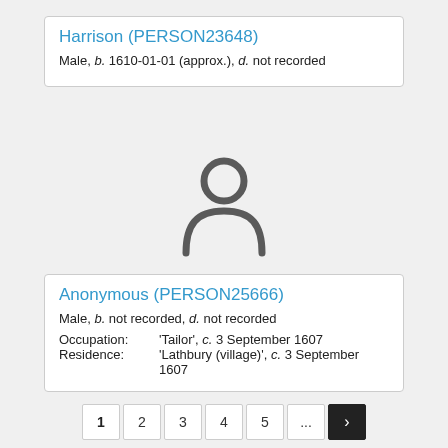Harrison (PERSON23648)
Male, b. 1610-01-01 (approx.), d. not recorded
[Figure (illustration): Generic person silhouette icon (grey outline of a person)]
Anonymous (PERSON25666)
Male, b. not recorded, d. not recorded
Occupation: 'Tailor', c. 3 September 1607
Residence: 'Lathbury (village)', c. 3 September 1607
1 2 3 4 5 ... >